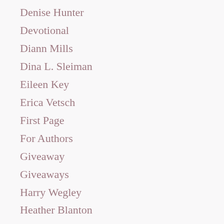Denise Hunter
Devotional
Diann Mills
Dina L. Sleiman
Eileen Key
Erica Vetsch
First Page
For Authors
Giveaway
Giveaways
Harry Wegley
Heather Blanton
Jackie Zack
James R Callan
Jan Cline
JC Morrows
Jeff Goins
Jennifer AlLee
Jennifer Slattery